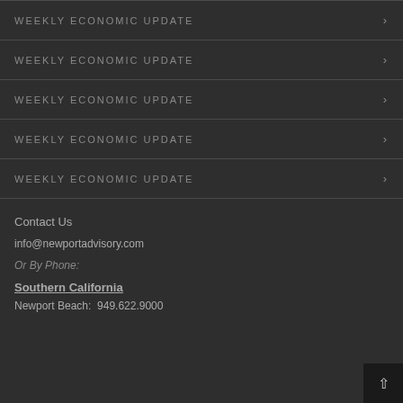WEEKLY ECONOMIC UPDATE
WEEKLY ECONOMIC UPDATE
WEEKLY ECONOMIC UPDATE
WEEKLY ECONOMIC UPDATE
WEEKLY ECONOMIC UPDATE
Contact Us
info@newportadvisory.com
Or By Phone:
Southern California
Newport Beach:  949.622.9000